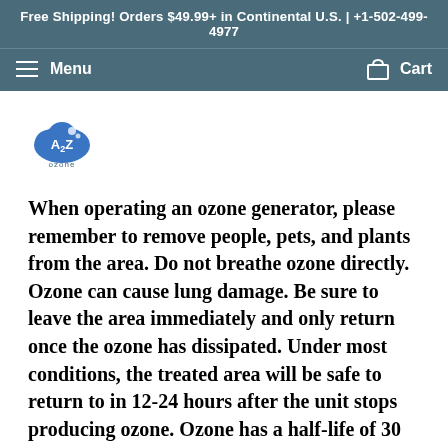Free Shipping! Orders $49.99+ in Continental U.S. | +1-502-499-4977
Menu   Cart
[Figure (logo): A2Z Ozone company logo — blue cloud with 'A2Z' text and 'ozone' written below]
When operating an ozone generator, please remember to remove people, pets, and plants from the area. Do not breathe ozone directly. Ozone can cause lung damage. Be sure to leave the area immediately and only return once the ozone has dissipated. Under most conditions, the treated area will be safe to return to in 12-24 hours after the unit stops producing ozone. Ozone has a half-life of 30 minutes. Ventilate treated spaces or